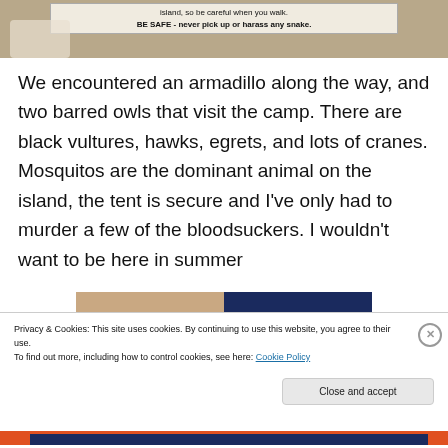[Figure (photo): Top portion of a photo showing a sign with text about snakes on an island. Sign reads: 'island, so be careful when you walk. BE SAFE - never pick up or harass any snake.']
We encountered an armadillo along the way, and two barred owls that visit the camp. There are black vultures, hawks, egrets, and lots of cranes. Mosquitos are the dominant animal on the island, the tent is secure and I've only had to murder a few of the bloodsuckers. I wouldn't want to be here in summer
[Figure (photo): Advertisement image showing hands on left side with brown/skin tones and dark navy blue right side with bold italic text 'BUSINESS.']
Privacy & Cookies: This site uses cookies. By continuing to use this website, you agree to their use.
To find out more, including how to control cookies, see here: Cookie Policy
Close and accept